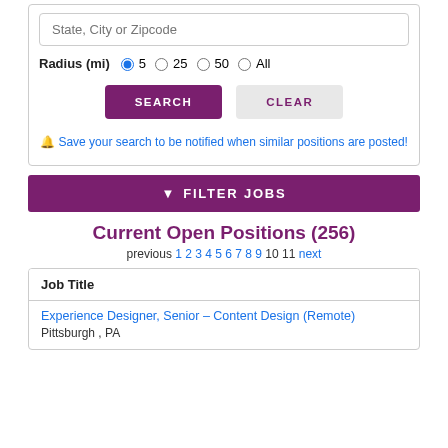State, City or Zipcode
Radius (mi) 5 25 50 All
SEARCH
CLEAR
Save your search to be notified when similar positions are posted!
FILTER JOBS
Current Open Positions (256)
previous 1 2 3 4 5 6 7 8 9 10 11 next
| Job Title |
| --- |
| Experience Designer, Senior – Content Design (Remote)
Pittsburgh , PA |